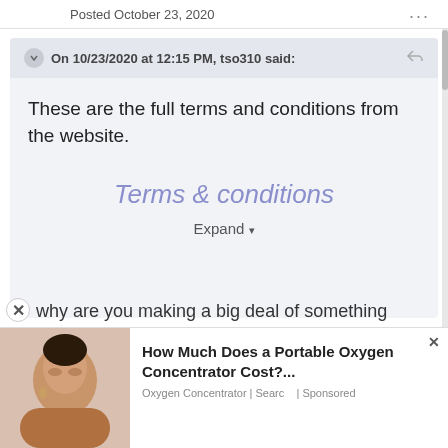Posted October 23, 2020
On 10/23/2020 at 12:15 PM, tso310 said:
These are the full terms and conditions from the website.
Terms & conditions
Expand
why are you making a big deal of something
How Much Does a Portable Oxygen Concentrator Cost?...
Oxygen Concentrator | Searc   | Sponsored